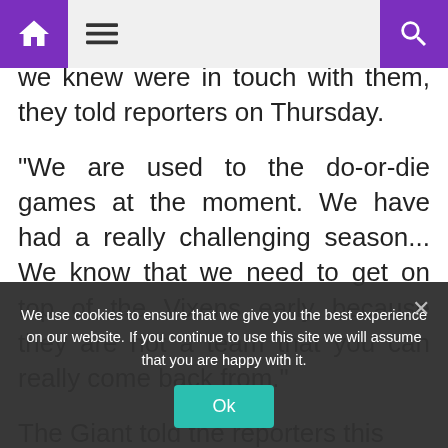[Home] [Menu] [Search]
we knew were in touch with them, they told reporters on Thursday.
“We are used to the do-or-die games at the moment. We have had a really challenging season... We know that we need to get on top of the Vixens early because they are not a team that you can really come back from.”
The Giant told the reporters this season had been
We use cookies to ensure that we give you the best experience on our website. If you continue to use this site we will assume that you are happy with it.